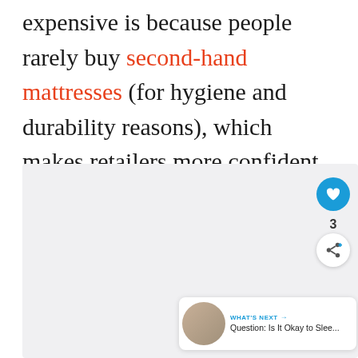expensive is because people rarely buy second-hand mattresses (for hygiene and durability reasons), which makes retailers more confident in upping their prices since people won't risk buying a second-hand product anyway.
[Figure (photo): Light gray/white rectangle placeholder image area below the text block]